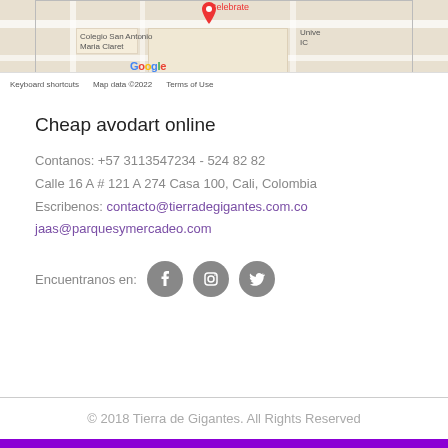[Figure (map): Google Maps screenshot showing Colegio San Antonio Maria Claret and surrounding streets in Cali, Colombia. Shows Google logo, red location pin with 'Celebrate' label, map toolbar with keyboard shortcuts, map data copyright 2022, and Terms of Use.]
Cheap avodart online
Contanos: +57 3113547234 - 524 82 82
Calle 16 A # 121 A 274 Casa 100, Cali, Colombia
Escribenos: contacto@tierradegigantes.com.co
jaas@parquesymercadeo.com
Encuentranos en:
© 2018 Tierra de Gigantes. All Rights Reserved